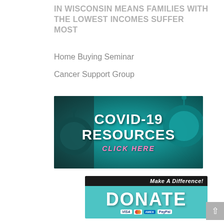IN WISCONSIN MEANS FAMILIES WITH THE LOWEST INCOMES SUFFER MOST
Home Buying Seminar
Cancer Support Group
[Figure (infographic): COVID-19 Resources banner with teal coronavirus background imagery, white bold text reading 'COVID-19 RESOURCES' and pink italic text reading 'CLICK HERE']
[Figure (infographic): Donation banner with dark top bar reading 'Make A Difference!' in white italic text, teal main area with large white 'DONATE' text, payment icons for VISA, Mastercard, AMEX, and PayPal at bottom]